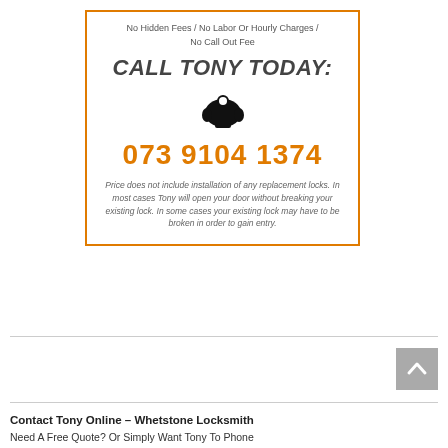No Hidden Fees / No Labor Or Hourly Charges / No Call Out Fee
CALL TONY TODAY:
[Figure (illustration): Black telephone handset icon]
073 9104 1374
Price does not include installation of any replacement locks. In most cases Tony will open your door without breaking your existing lock. In some cases your existing lock may have to be broken in order to gain entry.
[Figure (other): Grey back-to-top button with upward chevron arrow]
Contact Tony Online – Whetstone Locksmith Need A Free Quote? Or Simply Want Tony To Phone